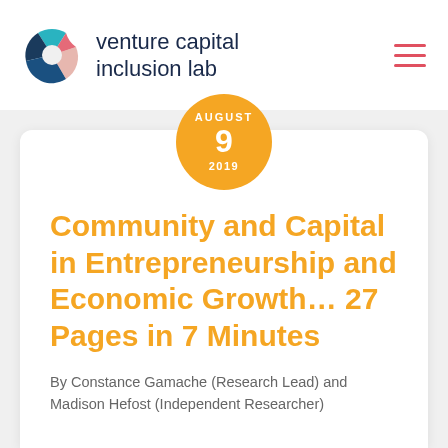[Figure (logo): Venture Capital Inclusion Lab logo with geometric pie-chart style icon in teal, blue, and red, next to the text 'venture capital inclusion lab']
venture capital
inclusion lab
AUGUST
9
2019
Community and Capital in Entrepreneurship and Economic Growth... 27 Pages in 7 Minutes
By Constance Gamache (Research Lead) and Madison Hefost (Independent Researcher)